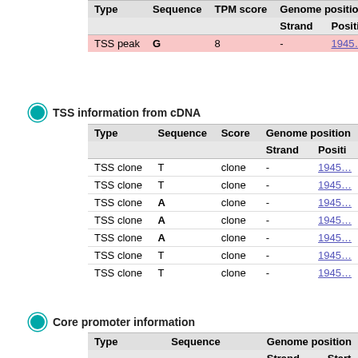| Type | Sequence | TPM score | Genome position / Strand | Genome position / Positi |
| --- | --- | --- | --- | --- |
| TSS peak | G | 8 | - | 1945… |
TSS information from cDNA
| Type | Sequence | Score | Genome position / Strand | Genome position / Positi |
| --- | --- | --- | --- | --- |
| TSS clone | T | clone | - | 1945… |
| TSS clone | T | clone | - | 1945… |
| TSS clone | A | clone | - | 1945… |
| TSS clone | A | clone | - | 1945… |
| TSS clone | A | clone | - | 1945… |
| TSS clone | T | clone | - | 1945… |
| TSS clone | T | clone | - | 1945… |
Core promoter information
| Type | Sequence | Genome position / Strand | Genome position / Start |
| --- | --- | --- | --- |